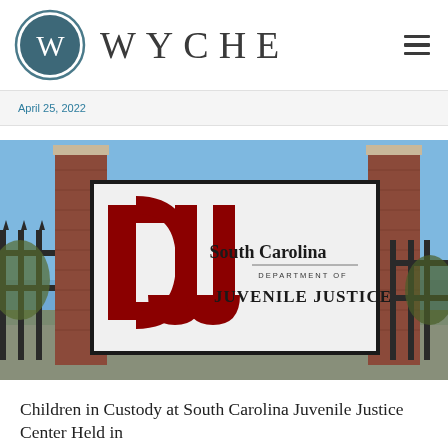[Figure (logo): Wyche law firm logo: circular emblem with W monogram in slate blue, beside the wordmark WYCHE in spaced serif capitals, with a hamburger menu icon on the right]
April 25, 2022
[Figure (photo): Exterior sign for the South Carolina Department of Juvenile Justice (DJJ), featuring a large red DJJ logo on a white sign panel framed by brick columns, with a blue sky background and iron fence visible]
Children in Custody at South Carolina Juvenile Justice Center Held in Nightmare Conditions